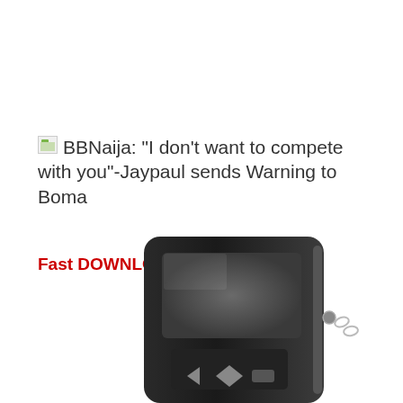BBNaija: "I don't want to compete with you"-Jaypaul sends Warning to Boma
Fast DOWNLOAD Here
[Figure (photo): A black portable MP3/media player device shown from a low angle, with a small LCD screen and navigation buttons visible at the bottom]